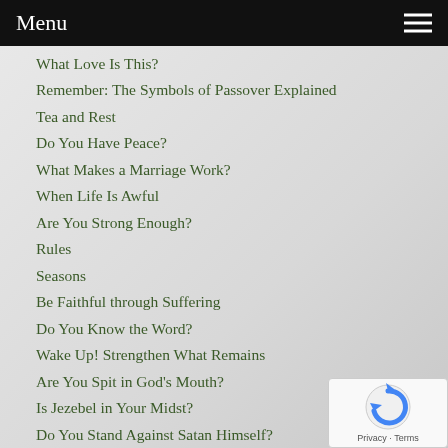Menu
What Love Is This?
Remember: The Symbols of Passover Explained
Tea and Rest
Do You Have Peace?
What Makes a Marriage Work?
When Life Is Awful
Are You Strong Enough?
Rules
Seasons
Be Faithful through Suffering
Do You Know the Word?
Wake Up! Strengthen What Remains
Are You Spit in God's Mouth?
Is Jezebel in Your Midst?
Do You Stand Against Satan Himself?
Are You Tired of Being a Mom?
What in the World Is Happening?
It's Not My Story
[Figure (logo): reCAPTCHA widget showing a circular arrow icon with Privacy · Terms text below]